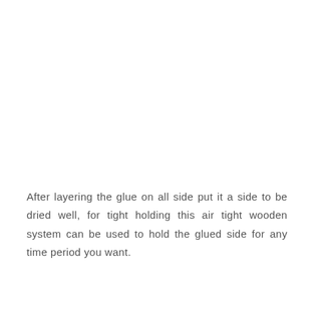After layering the glue on all side put it a side to be dried well, for tight holding this air tight wooden system can be used to hold the glued side for any time period you want.